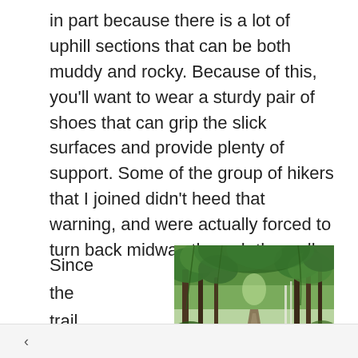in part because there is a lot of uphill sections that can be both muddy and rocky. Because of this, you'll want to wear a sturdy pair of shoes that can grip the slick surfaces and provide plenty of support. Some of the group of hikers that I joined didn't heed that warning, and were actually forced to turn back midway through the walk.
Since the trail passe
[Figure (photo): A lush green forest trail with tall trees and dense foliage forming a canopy overhead, with a path visible in the distance.]